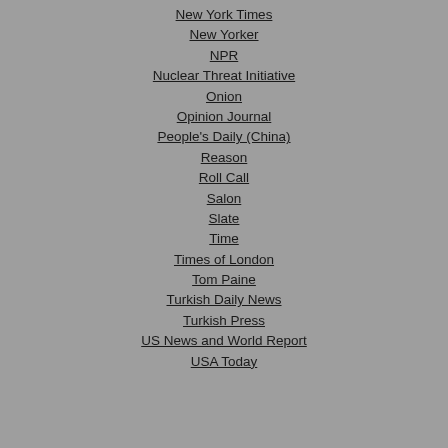New York Times
New Yorker
NPR
Nuclear Threat Initiative
Onion
Opinion Journal
People's Daily (China)
Reason
Roll Call
Salon
Slate
Time
Times of London
Tom Paine
Turkish Daily News
Turkish Press
US News and World Report
USA Today